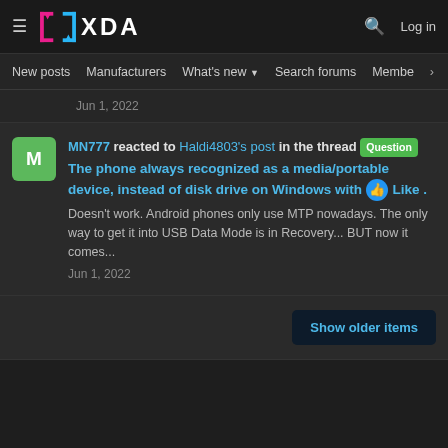XDA — New posts | Manufacturers | What's new | Search forums | Members
Jun 1, 2022
MN777 reacted to Haldi4803's post in the thread [Question] The phone always recognized as a media/portable device, instead of disk drive on Windows with 👍 Like. Doesn't work. Android phones only use MTP nowadays. The only way to get it into USB Data Mode is in Recovery... BUT now it comes... Jun 1, 2022
Show older items